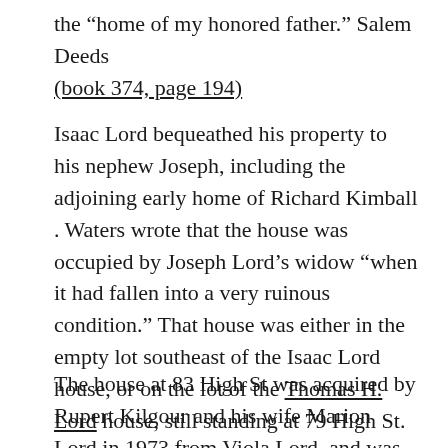the “home of my honored father.” Salem Deeds (book 374, page 194)
Isaac Lord bequeathed his property to his nephew Joseph, including the adjoining early home of Richard Kimball . Waters wrote that the house was occupied by Joseph Lord’s widow “when it had fallen into a very ruinous condition.” That house was either in the empty lot southeast of the Isaac Lord house, or on the lot of the Thomas H. Lord house, still standing at 79 High St.
The house at 83 High St was acquired by Rupert Kilgour and his wife Marion Lord in 1973 from Viola Lord, and was placed on the